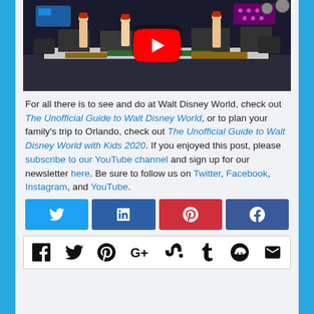[Figure (screenshot): YouTube video thumbnail showing a stage concert scene with a YouTube play button overlay]
For all there is to see and do at Walt Disney World, check out The Unofficial Guide to Walt Disney World, or to plan your family's trip to Orlando, check out The Unofficial Guide to Walt Disney World with Kids 2020. If you enjoyed this post, please subscribe to our YouTube channel and sign up for our newsletter here. Be sure to follow us on Twitter, Facebook, Instagram, and YouTube.
[Figure (infographic): Social share buttons row: Twitter (blue), LinkedIn (dark blue), Pinterest (red), Facebook (blue)]
[Figure (infographic): Social media icon bar with Facebook, Twitter, Pinterest, Google+, StumbleUpon, Tumblr, Reddit, and Email icons]